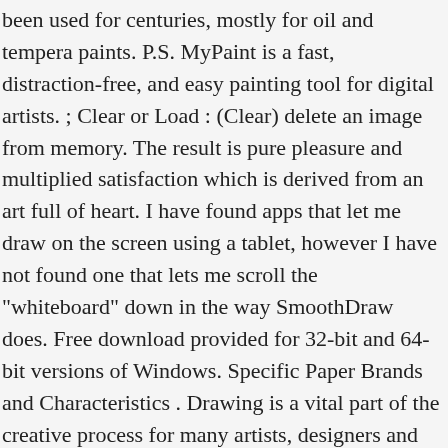been used for centuries, mostly for oil and tempera paints. P.S. MyPaint is a fast, distraction-free, and easy painting tool for digital artists. ; Clear or Load : (Clear) delete an image from memory. The result is pure pleasure and multiplied satisfaction which is derived from an art full of heart. I have found apps that let me draw on the screen using a tablet, however I have not found one that lets me scroll the "whiteboard" down in the way SmoothDraw does. Free download provided for 32-bit and 64-bit versions of Windows. Specific Paper Brands and Characteristics . Drawing is a vital part of the creative process for many artists, designers and craftspeople. Featured ? Android Tablet Start by drawing on the map. It allows you to interactively draw various types of graphics objects. $ Topic tags/keywords: question. SmoothDraw is an easy natural painting and digital free-hand drawing software that can produce high quality pictures. Added keyboard shortcut for Clear. This thread is archived. Specific Paper Brands and Characteristics. Forced to make fast strokes to avoid seeing any jitters? save hide